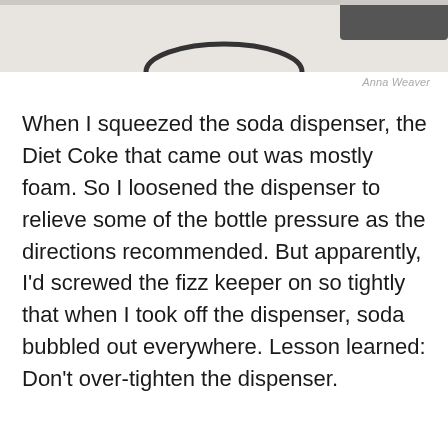[Figure (photo): Partial view of a white furry surface with a dark circular object (bottle/dispenser rim) visible at top]
Anna Weaver
When I squeezed the soda dispenser, the Diet Coke that came out was mostly foam. So I loosened the dispenser to relieve some of the bottle pressure as the directions recommended. But apparently, I'd screwed the fizz keeper on so tightly that when I took off the dispenser, soda bubbled out everywhere. Lesson learned: Don't over-tighten the dispenser.